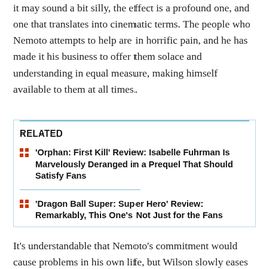it may sound a bit silly, the effect is a profound one, and one that translates into cinematic terms. The people who Nemoto attempts to help are in horrific pain, and he has made it his business to offer them solace and understanding in equal measure, making himself available to them at all times.
RELATED
'Orphan: First Kill' Review: Isabelle Fuhrman Is Marvelously Deranged in a Prequel That Should Satisfy Fans
'Dragon Ball Super: Super Hero' Review: Remarkably, This One's Not Just for the Fans
It's understandable that Nemoto's commitment would cause problems in his own life, but Wilson slowly eases her